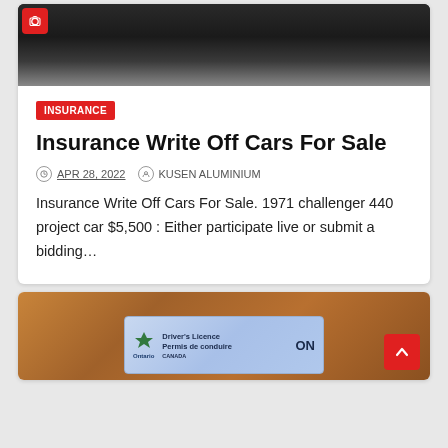[Figure (photo): Dark circular car part / wheel image with a red camera icon in top-left corner]
INSURANCE
Insurance Write Off Cars For Sale
APR 28, 2022   KUSEN ALUMINIUM
Insurance Write Off Cars For Sale. 1971 challenger 440 project car $5,500 : Either participate live or submit a bidding…
[Figure (photo): Ontario Driver's Licence card on a wooden surface]